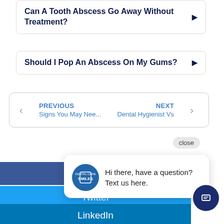Can A Tooth Abscess Go Away Without Treatment?
Should I Pop An Abscess On My Gums?
PREVIOUS Signs You May Nee...
NEXT Dental Hygienist Vs
close
Hi there, have a question? Text us here.
Facebook
Twitter
LinkedIn